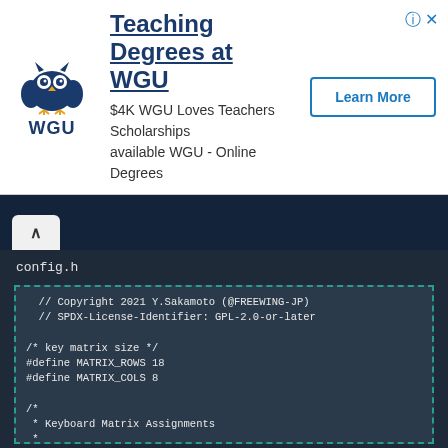[Figure (logo): WGU owl logo with WGU text below]
Teaching Degrees at WGU
$4K WGU Loves Teachers Scholarships available WGU - Online Degrees
Learn More
config.h
// Copyright 2021 Y.Sakamoto (@FREEWING-JP)
// SPDX-License-Identifier: GPL-2.0-or-later

/* key matrix size */
#define MATRIX_ROWS 18
#define MATRIX_COLS 8

/*
 * Keyboard Matrix Assignments
 *
 * Change this to how you wired your keyboard
 * COLS: AVR pins used for columns, left to right
 * ROWS: AVR pins used for rows, top to bottom
 * DIODE_DIRECTION: COL2ROW = COL = Anode (+), ROW = Cathode (-, marked on diode)
 *                  ROW2COL = ROW = Anode (+), COL = Cathode (-, marked on diode)
 *
 */
#define MATRIX_ROW_PINS { NO_PIN, NO_PIN, NO_PIN, NO_PIN, NO_PIN, NO_PIN, NO_PIN, NO_PIN, NO_PIN, NO_PIN, NO_PIN, NO_PIN, NO_PIN, NO_PIN, NO_PIN, NO_PIN, NO_PIN, NO_PIN }